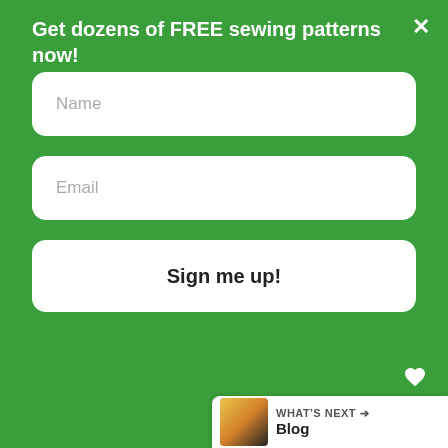Get dozens of FREE sewing patterns now!
Name
Email
Sign me up!
che tante volte ho mangiato a casa tua. Grazie per i tuoi utili e bei consigli. Un bacio. Angela.
Reply
WHAT'S NEXT → Blog